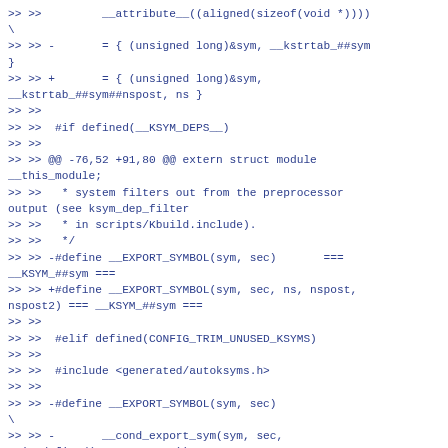>> >>         __attribute__((aligned(sizeof(void *))))
\
>> >> -       = { (unsigned long)&sym, __kstrtab_##sym
}
>> >> +       = { (unsigned long)&sym,
__kstrtab_##sym##nspost, ns }
>> >>
>> >>  #if defined(__KSYM_DEPS__)
>> >>
>> >> @@ -76,52 +91,80 @@ extern struct module __this_module;
>> >>    * system filters out from the preprocessor output (see ksym_dep_filter
>> >>    * in scripts/Kbuild.include).
>> >>    */
>> >> -#define __EXPORT_SYMBOL(sym, sec)       ===
__KSYM_##sym ===
>> >> +#define __EXPORT_SYMBOL(sym, sec, ns, nspost,
nspost2) === __KSYM_##sym ===
>> >>
>> >>  #elif defined(CONFIG_TRIM_UNUSED_KSYMS)
>> >>
>> >>  #include <generated/autoksyms.h>
>> >>
>> >> -#define __EXPORT_SYMBOL(sym, sec)
\
>> >> -       __cond_export_sym(sym, sec,
__is_defined(__KSYM_##sym))
>> >> -#define __cond_export_sym(sym, sec, conf)
\